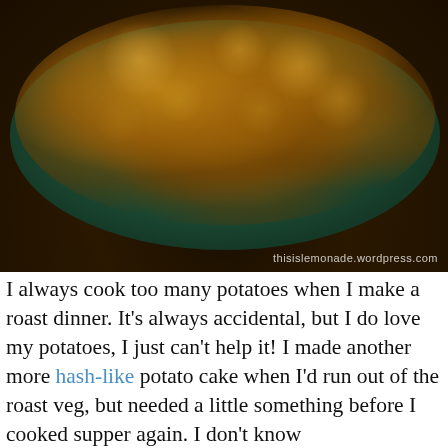[Figure (photo): Stack of golden-brown potato cakes/hash browns on a dark green plate, photographed from above. Watermark reads 'thisislemonade.wordpress.com']
I always cook too many potatoes when I make a roast dinner. It's always accidental, but I do love my potatoes, I just can’t help it! I made another more hash-like potato cake when I’d run out of the roast veg, but needed a little something before I cooked supper again. I don’t know
Privacy & Cookies: This site uses cookies. By continuing to use this website, you agree to their use.
To find out more, including how to control cookies, see here: Cookie Policy
Close and accept